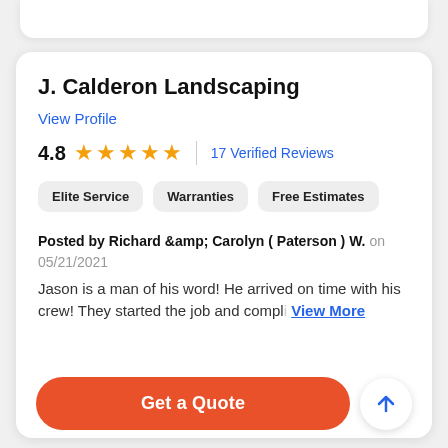J. Calderon Landscaping
View Profile
4.8  ★★★★★  |  17 Verified Reviews
Elite Service
Warranties
Free Estimates
Posted by Richard &amp;amp; Carolyn ( Paterson ) W. on 05/21/2021
Jason is a man of his word! He arrived on time with his crew! They started the job and compl… View More
Get a Quote